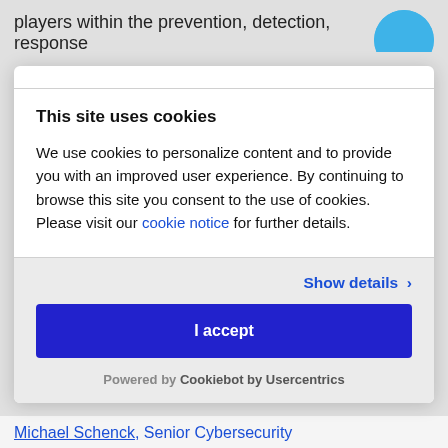players within the prevention, detection, response
This site uses cookies
We use cookies to personalize content and to provide you with an improved user experience. By continuing to browse this site you consent to the use of cookies. Please visit our cookie notice for further details.
Show details >
I accept
Powered by Cookiebot by Usercentrics
Michael Schenck, Senior Cybersecurity